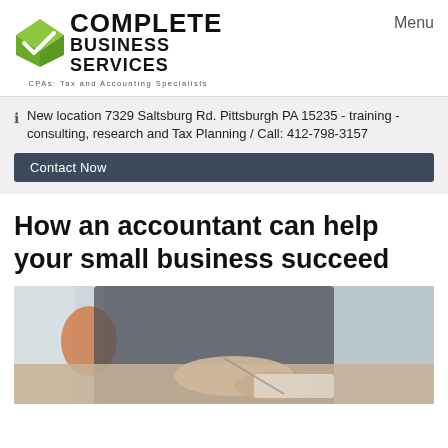[Figure (logo): Complete Business Services logo with green checkmark envelope icon and text 'COMPLETE BUSINESS SERVICES — CPAs: Tax and Accounting Specialists']
Menu
New location 7329 Saltsburg Rd. Pittsburgh PA 15235 - training - consulting, research and Tax Planning / Call: 412-798-3157
Contact Now
How an accountant can help your small business succeed
[Figure (photo): Close-up photo of a person's hands writing or working at a desk with a tablet, blurred office background with orange chair]